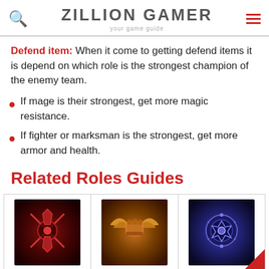ZILLION GAMER - your game guide
Defend item: When it come to getting defend items it is depend on which role is the strongest champion of the enemy team.
If mage is their strongest, get more magic resistance.
If fighter or marksman is the strongest, get more armor and health.
Related Roles Guides
| Assassin | Fighter | Mage |
| --- | --- | --- |
| [Assassin image] | [Fighter image] | [Mage image] |